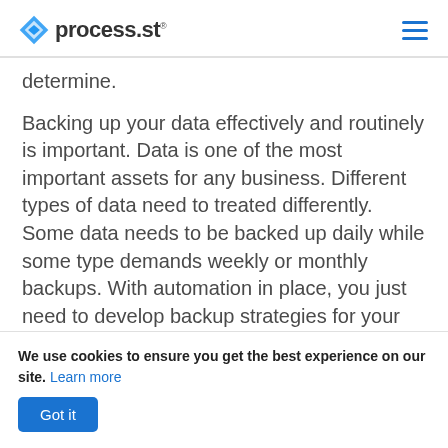process.st
determine.
Backing up your data effectively and routinely is important. Data is one of the most important assets for any business. Different types of data need to treated differently. Some data needs to be backed up daily while some type demands weekly or monthly backups. With automation in place, you just need to develop backup strategies for your data. The actual job of backing things up will be managed by the system you set up
We use cookies to ensure you get the best experience on our site. Learn more